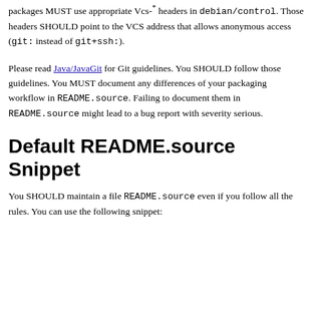packages MUST use appropriate Vcs-* headers in debian/control. Those headers SHOULD point to the VCS address that allows anonymous access (git: instead of git+ssh:).
Please read Java/JavaGit for Git guidelines. You SHOULD follow those guidelines. You MUST document any differences of your packaging workflow in README.source. Failing to document them in README.source might lead to a bug report with severity serious.
Default README.source Snippet
You SHOULD maintain a file README.source even if you follow all the rules. You can use the following snippet: